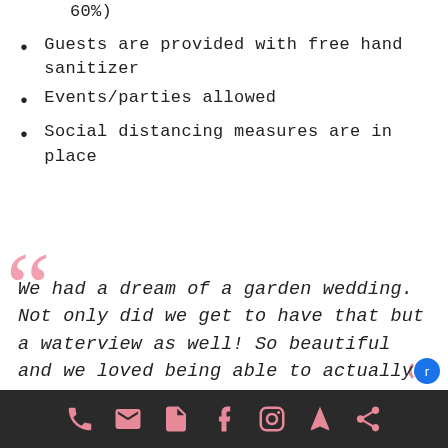60%)
Guests are provided with free hand sanitizer
Events/parties allowed
Social distancing measures are in place
We had a dream of a garden wedding. Not only did we get to have that but a waterview as well! So beautiful and we loved being able to actually stay on the
[phone] [email] [notes] [facebook] [instagram] [location] [share]